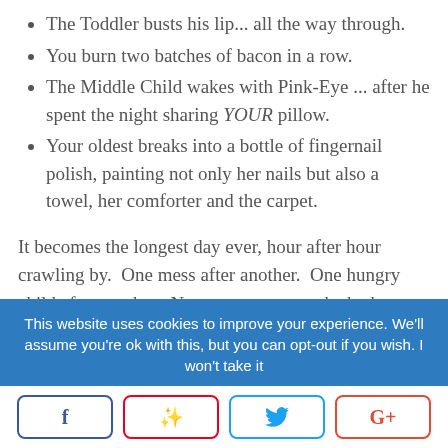The Toddler busts his lip... all the way through.
You burn two batches of bacon in a row.
The Middle Child wakes with Pink-Eye ... after he spent the night sharing YOUR pillow.
Your oldest breaks into a bottle of fingernail polish, painting not only her nails but also a towel, her comforter and the carpet.
It becomes the longest day ever, hour after hour crawling by. One mess after another. One hungry child after another. Not even escape to the bathroom is possible because, where ever you go, they find you.
This website uses cookies to improve your experience. We'll assume you're ok with this, but you can opt-out if you wish. I won't take it
f  (Pinterest icon)  (Twitter icon)  G+